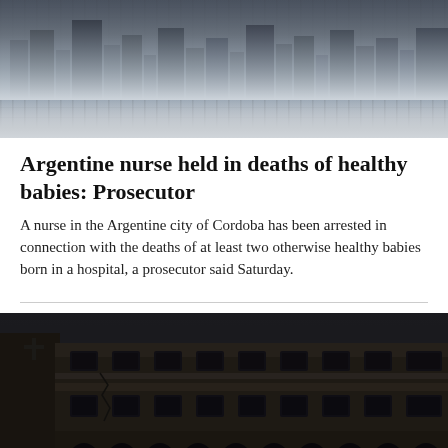[Figure (photo): Aerial or cityscape photo, partially faded/blurred at bottom, showing a city skyline or urban scene.]
Argentine nurse held in deaths of healthy babies: Prosecutor
A nurse in the Argentine city of Cordoba has been arrested in connection with the deaths of at least two otherwise healthy babies born in a hospital, a prosecutor said Saturday.
[Figure (photo): Dark photograph of an ornate European-style building facade with arched windows, columns, decorative stonework, and a cross visible on the left side.]